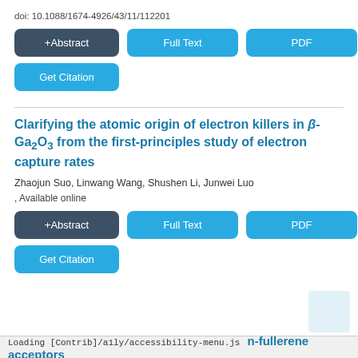doi: 10.1088/1674-4926/43/11/112201
[Figure (screenshot): Three buttons: +Abstract (dark grey), Full Text (blue), PDF (blue)]
[Figure (screenshot): Get Citation button (blue)]
Clarifying the atomic origin of electron killers in β-Ga2O3 from the first-principles study of electron capture rates
Zhaojun Suo, Linwang Wang, Shushen Li, Junwei Luo
, Available online
[Figure (screenshot): Three buttons: +Abstract (dark grey), Full Text (blue), PDF (blue)]
[Figure (screenshot): Get Citation button (blue)]
Loading [Contrib]/a1ly/accessibility-menu.js
on-fullerene acceptors